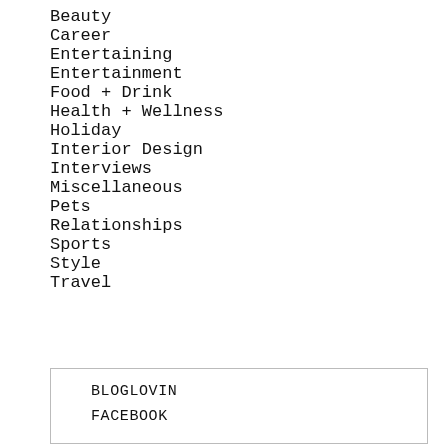Beauty
Career
Entertaining
Entertainment
Food + Drink
Health + Wellness
Holiday
Interior Design
Interviews
Miscellaneous
Pets
Relationships
Sports
Style
Travel
BLOGLOVIN
FACEBOOK